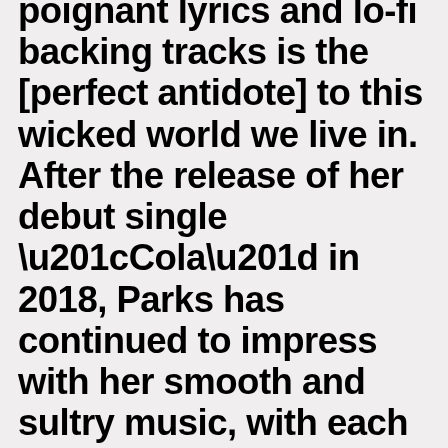poignant lyrics and lo-fi backing tracks is the [perfect antidote] to this wicked world we live in. After the release of her debut single “Cola” in 2018, Parks has continued to impress with her smooth and sultry music, with each new offering feeling more like poetry set to melody; her music is filled with ambiance, elegance and